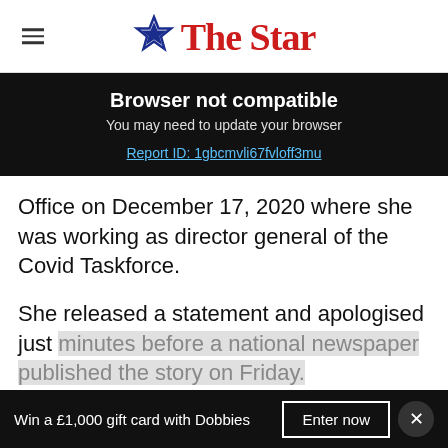The Star
Browser not compatible
You may need to update your browser
Report ID: 1gbcmvli67fvloff3mu
Office on December 17, 2020 where she was working as director general of the Covid Taskforce.
She released a statement and apologised just minutes before a national newspaper published the story on Friday.
Win a £1,000 gift card with Dobbies   Enter now